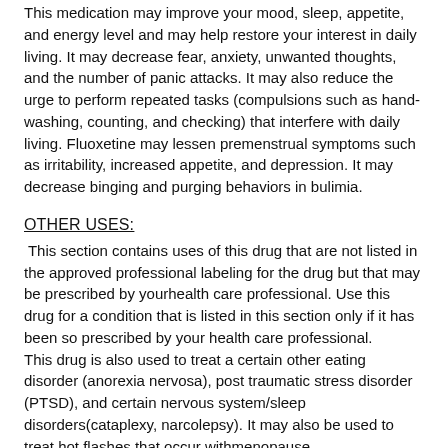This medication may improve your mood, sleep, appetite, and energy level and may help restore your interest in daily living. It may decrease fear, anxiety, unwanted thoughts, and the number of panic attacks. It may also reduce the urge to perform repeated tasks (compulsions such as hand-washing, counting, and checking) that interfere with daily living. Fluoxetine may lessen premenstrual symptoms such as irritability, increased appetite, and depression. It may decrease binging and purging behaviors in bulimia.
OTHER USES:
This section contains uses of this drug that are not listed in the approved professional labeling for the drug but that may be prescribed by yourhealth care professional. Use this drug for a condition that is listed in this section only if it has been so prescribed by your health care professional. This drug is also used to treat a certain other eating disorder (anorexia nervosa), post traumatic stress disorder (PTSD), and certain nervous system/sleep disorders(cataplexy, narcolepsy). It may also be used to treat hot flashes that occur withmenopause.
How to use Prozac
Read the Medication Guide provided by your pharmacist before you start using fluoxetine and each time you get a refill. If you have any questions,